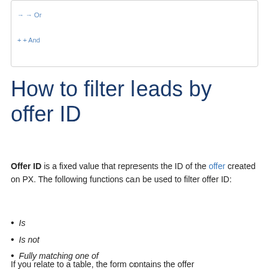[Figure (screenshot): UI widget showing 'Or' and 'And' filter buttons in a bordered box]
How to filter leads by offer ID
Offer ID is a fixed value that represents the ID of the offer created on PX. The following functions can be used to filter offer ID:
Is
Is not
Fully matching one of
Fully not matching one of
If you relate to a table, the form contains the offer